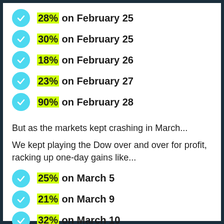28% on February 25
30% on February 25
18% on February 26
23% on February 27
90% on February 28
But as the markets kept crashing in March...
We kept playing the Dow over and over for profit, racking up one-day gains like...
25% on March 5
21% on March 9
32% on March 10
19% on March 11